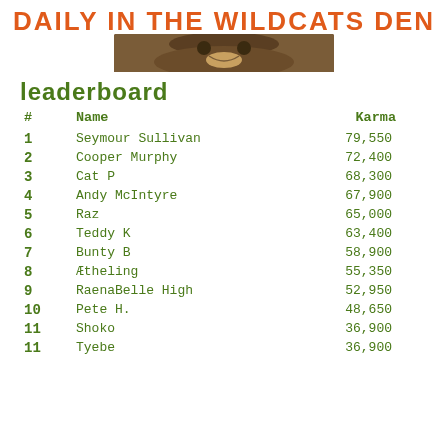[Figure (illustration): Banner with text 'DAILY IN THE WILDCATS DEN' in orange bold letters, with a wildcat photo below it]
LEADERBOARD
| # | Name | Karma |
| --- | --- | --- |
| 1 | Seymour Sullivan | 79,550 |
| 2 | Cooper Murphy | 72,400 |
| 3 | Cat P | 68,300 |
| 4 | Andy McIntyre | 67,900 |
| 5 | Raz | 65,000 |
| 6 | Teddy K | 63,400 |
| 7 | Bunty B | 58,900 |
| 8 | Ætheling | 55,350 |
| 9 | RaenaBelle High | 52,950 |
| 10 | Pete H. | 48,650 |
| 11 | Shoko | 36,900 |
| 11 | Tyebe | 36,900 |